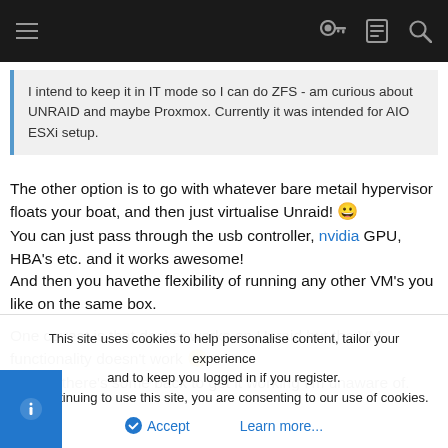Navigation bar with hamburger menu and icons
I intend to keep it in IT mode so I can do ZFS - am curious about UNRAID and maybe Proxmox. Currently it was intended for AIO ESXi setup.
The other option is to go with whatever bare metail hypervisor floats your boat, and then just virtualise Unraid! 😀 You can just pass through the usb controller, nvidia GPU, HBA's etc. and it works awesome! And then you havethe flexibility of running any other VM's you like on the same box.

One caveat is that docker works on Unraid but the VM functionality doesn't work 😕 Unless there's some back to get it working I'm unaware of.
This site uses cookies to help personalise content, tailor your experience and to keep you logged in if you register. By continuing to use this site, you are consenting to our use of cookies.